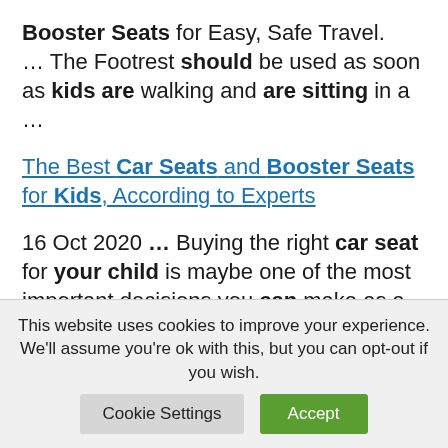Booster Seats for Easy, Safe Travel. ... The Footrest should be used as soon as kids are walking and are sitting in a ...
The Best Car Seats and Booster Seats for Kids, According to Experts
16 Oct 2020 ... Buying the right car seat for your child is maybe one of the most important decisions you can make as a new parent.
This website uses cookies to improve your experience. We'll assume you're ok with this, but you can opt-out if you wish.